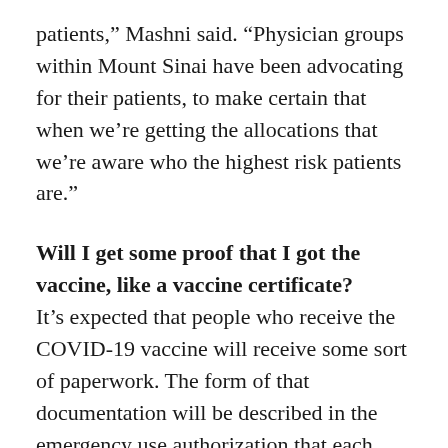patients," Mashni said. "Physician groups within Mount Sinai have been advocating for their patients, to make certain that when we’re getting the allocations that we’re aware who the highest risk patients are."
Will I get some proof that I got the vaccine, like a vaccine certificate?
It’s expected that people who receive the COVID-19 vaccine will receive some sort of paperwork. The form of that documentation will be described in the emergency use authorization that each vaccine receives from the FDA, Mashni said. “I believe we’ll be giving people a card that shows the lot number of the vaccine they received,” Mashni said. “Then